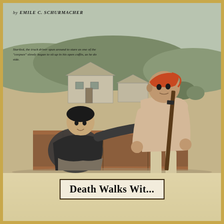by EMILE C. SCHURMACHER
[Figure (illustration): Pulp magazine illustration showing two men in a wooden crate or coffin outdoors. One man in a dark jacket sits up holding a pistol, while another man in light clothing and a red/orange head wrap stands holding a rifle. A farmhouse and hills are visible in the background. The scene suggests a confrontation or surprise encounter.]
Startled, the truck driver spun around to stare as one of the "corpses" slowly began to sit up in his open coffin, as he do side.
Death Walks Wit...